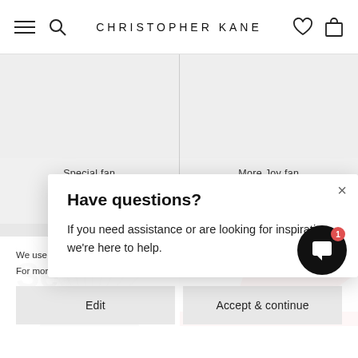CHRISTOPHER KANE
Special fan
45.00 €
More Joy fan
45.00 €
[Figure (screenshot): Product image area showing fan products and modal overlay]
Have questions?
If you need assistance or are looking for inspiration, we're here to help.
We use cookies to optimise site functionality and enhance your ex... For more information click here.
Edit
Accept & continue